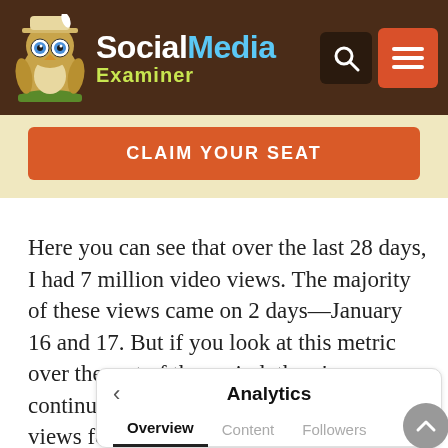Social Media Examiner
CLAIM YOUR SEAT
Here you can see that over the last 28 days, I had 7 million video views. The majority of these views came on 2 days—January 16 and 17. But if you look at this metric over the rest of the period, there's continued growth and sustained video views for the most part.
[Figure (screenshot): Analytics interface showing Overview, Content, Followers tabs with Overview selected and underlined]